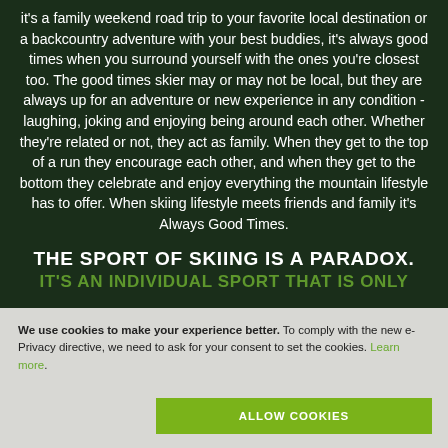it's a family weekend road trip to your favorite local destination or a backcountry adventure with your best buddies, it's always good times when you surround yourself with the ones you're closest too. The good times skier may or may not be local, but they are always up for an adventure or new experience in any condition - laughing, joking and enjoying being around each other. Whether they're related or not, they act as family. When they get to the top of a run they encourage each other, and when they get to the bottom they celebrate and enjoy everything the mountain lifestyle has to offer. When skiing lifestyle meets friends and family it's Always Good Times.
THE SPORT OF SKIING IS A PARADOX. IT'S AN INDIVIDUAL SPORT THAT IS ONLY
We use cookies to make your experience better. To comply with the new e-Privacy directive, we need to ask for your consent to set the cookies. Learn more.